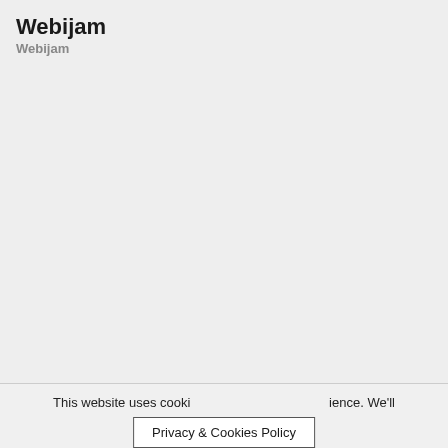Webijam
Webijam
This website uses cookies to improve your experience. We'll
Privacy & Cookies Policy